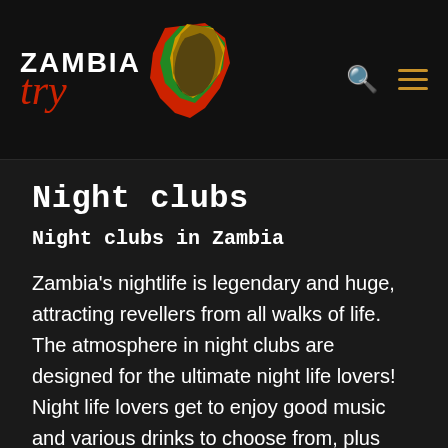[Figure (logo): Try Zambia logo with red script 'try', white bold 'ZAMBIA' text, and a colorful map of Africa/Zambia in red, green, and yellow/gold]
Night clubs
Night clubs in Zambia
Zambia's nightlife is legendary and huge, attracting revellers from all walks of life. The atmosphere in night clubs are designed for the ultimate night life lovers! Night life lovers get to enjoy good music and various drinks to choose from, plus party till very late. Some night clubs in Zambia have artists that come to